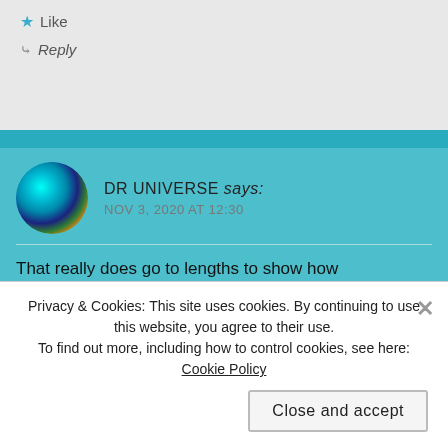★ Like
↪ Reply
DR UNIVERSE says: NOV 3, 2020 AT 12:30
That really does go to lengths to show how compassionate and empathetic you are! Hurting others comes as a part and parcel of being alive as does moving, respiring, stimulating, growing, reproducing, excreting, and nutritioning ( I don't think that's a word-sorry was getting
Privacy & Cookies: This site uses cookies. By continuing to use this website, you agree to their use.
To find out more, including how to control cookies, see here: Cookie Policy
Close and accept